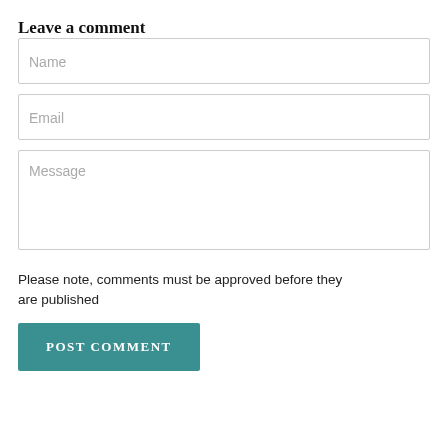Leave a comment
Name
Email
Message
Please note, comments must be approved before they are published
POST COMMENT